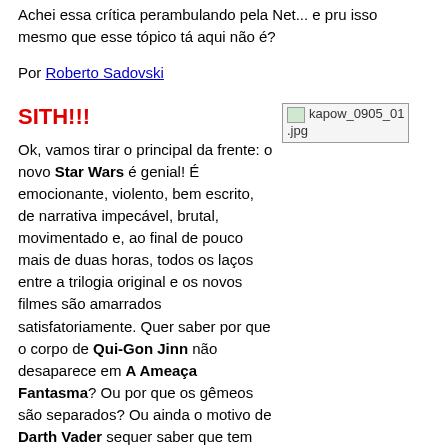Achei essa crítica perambulando pela Net... e pru isso mesmo que esse tópico tá aqui não é?
Por Roberto Sadovski
SITH!!!
[Figure (photo): Image placeholder showing kapow_0905_01.jpg]
Ok, vamos tirar o principal da frente: o novo Star Wars é genial! É emocionante, violento, bem escrito, de narrativa impecável, brutal, movimentado e, ao final de pouco mais de duas horas, todos os laços entre a trilogia original e os novos filmes são amarrados satisfatoriamente. Quer saber por que o corpo de Qui-Gon Jinn não desaparece em A Ameaça Fantasma? Ou por que os gêmeos são separados? Ou ainda o motivo de Darth Vader sequer saber que tem gêmeos? E os dróides, como eles não lembram dos eventos da nova trilogia nos filmes clássicos? Será que eles não lembram mesmo? Todas as dúvidas são respondidas com habilidade por Lucas, que fez o filme sombrio e trágico que os fãs esperavam desde O Retorno de Jedi... ou melhor, desde que o diretor anunciou que faria de